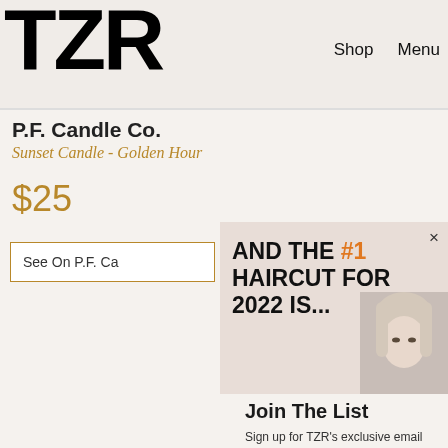TZR | Shop | Menu
P.F. Candle Co.
Sunset Candle - Golden Hour
$25
See On P.F. Ca
[Figure (screenshot): Advertisement overlay showing 'AND THE #1 HAIRCUT FOR 2022 IS...' in bold text with orange #1, and a photo of a blonde woman]
Join The List
Sign up for TZR's exclusive email list to uncover this season's top trends
Email address | Subscribe